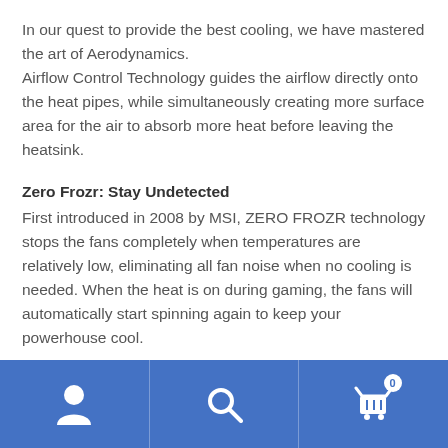In our quest to provide the best cooling, we have mastered the art of Aerodynamics.
Airflow Control Technology guides the airflow directly onto the heat pipes, while simultaneously creating more surface area for the air to absorb more heat before leaving the heatsink.
Zero Frozr: Stay Undetected
First introduced in 2008 by MSI, ZERO FROZR technology stops the fans completely when temperatures are relatively low, eliminating all fan noise when no cooling is needed. When the heat is on during gaming, the fans will automatically start spinning again to keep your powerhouse cool.
[Figure (other): Blue navigation bar with three icons: user/account icon, search icon, and shopping cart icon with badge showing 0]